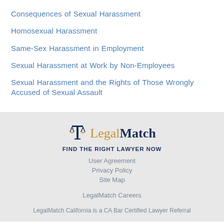Consequences of Sexual Harassment
Homosexual Harassment
Same-Sex Harassment in Employment
Sexual Harassment at Work by Non-Employees
Sexual Harassment and the Rights of Those Wrongly Accused of Sexual Assault
[Figure (logo): LegalMatch logo with scales of justice icon, tagline FIND THE RIGHT LAWYER NOW]
User Agreement
Privacy Policy
Site Map

LegalMatch Careers

LegalMatch California is a CA Bar Certified Lawyer Referral